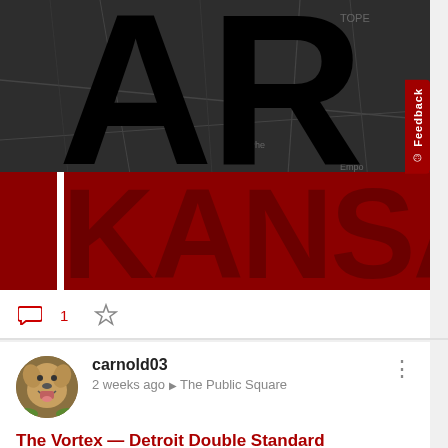[Figure (illustration): Screenshot of a social media app showing a stylized map image with large black letters 'AR' overlaid on a dark map background, and large dark red letters 'KANSA' on a dark red bar at the bottom, forming 'ARKANSA' (Arkansas). A feedback tab is visible on the right side.]
1
[Figure (photo): Circular avatar photo of a small fluffy dog (Corgi or similar breed) with mouth open, sitting on green grass.]
carnold03
2 weeks ago ▶ The Public Square
The Vortex — Detroit Double Standard